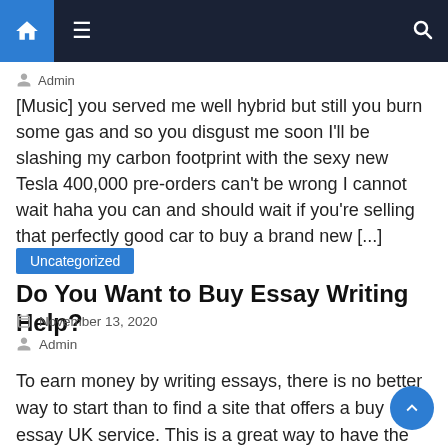Navigation bar with home, menu, and search icons
Admin
[Music] you served me well hybrid but still you burn some gas and so you disgust me soon I'll be slashing my carbon footprint with the sexy new Tesla 400,000 pre-orders can't be wrong I cannot wait haha you can and should wait if you're selling that perfectly good car to buy a brand new [...]
Uncategorized
Do You Want to Buy Essay Writing Help?
November 13, 2020
Admin
To earn money by writing essays, there is no better way to start than to find a site that offers a buy essay UK service. This is a great way to have the ability to order essays online in the comfort of your home and for much less than you'd